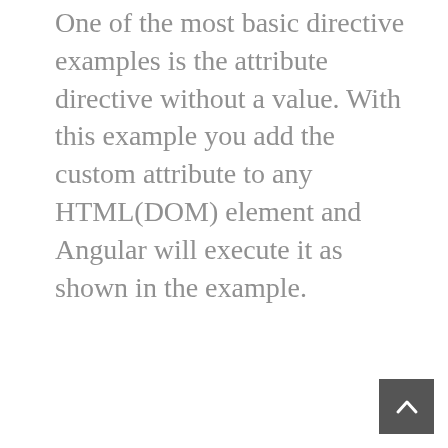One of the most basic directive examples is the attribute directive without a value. With this example you add the custom attribute to any HTML(DOM) element and Angular will execute it as shown in the example.
[Figure (other): A dark grey square button with a white upward-pointing chevron/caret arrow, positioned at the bottom-right corner of the page. Used as a scroll-to-top button.]